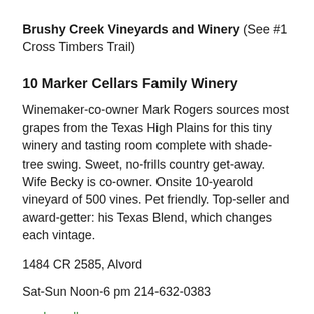Brushy Creek Vineyards and Winery (See #1 Cross Timbers Trail)
10 Marker Cellars Family Winery
Winemaker-co-owner Mark Rogers sources most grapes from the Texas High Plains for this tiny winery and tasting room complete with shade-tree swing. Sweet, no-frills country get-away. Wife Becky is co-owner. Onsite 10-yearold vineyard of 500 vines. Pet friendly. Top-seller and award-getter: his Texas Blend, which changes each vintage.
1484 CR 2585, Alvord
Sat-Sun Noon-6 pm 214-632-0383
markercellars.com